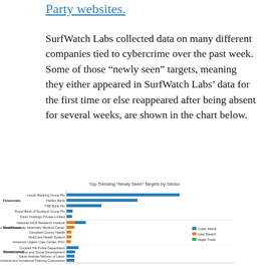Party websites.
SurfWatch Labs collected data on many different companies tied to cybercrime over the past week. Some of those “newly seen” targets, meaning they either appeared in SurfWatch Labs’ data for the first time or else reappeared after being absent for several weeks, are shown in the chart below.
[Figure (bar-chart): Horizontal grouped bar chart showing top trending newly seen cybercrime targets by sector (Financials, Healthcare, Government) with bars colored by type: Cyber Attack (blue), Data Breach (orange), Illegal Trade (green).]